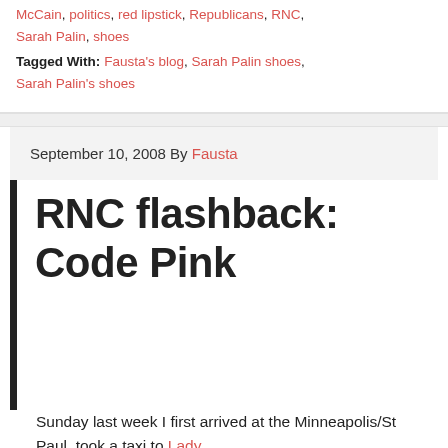McCain, politics, red lipstick, Republicans, RNC, Sarah Palin, shoes
Tagged With: Fausta's blog, Sarah Palin shoes, Sarah Palin's shoes
September 10, 2008 By Fausta
RNC flashback: Code Pink
Sunday last week I first arrived at the Minneapolis/St Paul, took a taxi to Lady